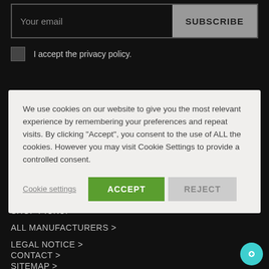[Figure (screenshot): Email subscription input field with placeholder 'Your email' and a grey 'SUBSCRIBE' button]
I accept the privacy policy.
We use cookies on our website to give you the most relevant experience by remembering your preferences and repeat visits. By clicking “Accept”, you consent to the use of ALL the cookies. However you may visit Cookie Settings to provide a controlled consent.
SHOP PICKUP >
ALL MANUFACTURERS >
LEGAL NOTICE >
CONTACT >
SITEMAP >